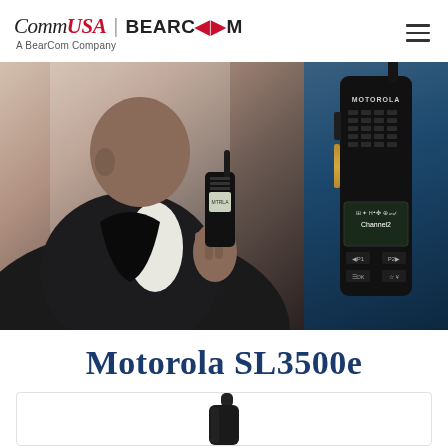CommUSA | BEARCOM — A BearCom Company
[Figure (photo): Split hero image: left side shows a person in a dark suit holding a Motorola two-way radio up to their face, indoor/office background; right side shows a close-up of a black Motorola SL3500e radio with display showing Channel2 and function buttons P1, P2, on blue background]
Motorola SL3500e
[Figure (photo): Close-up photo of the top portion of a black Motorola SL3500e two-way radio showing the antenna, partial view on white background inside a bordered box]